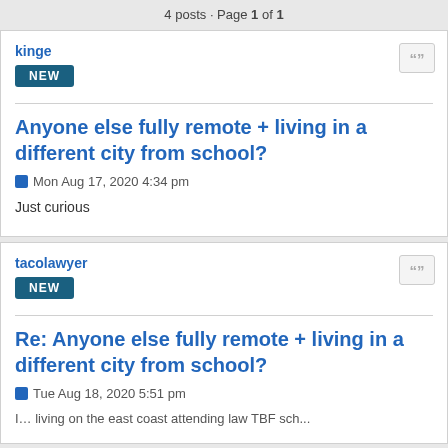4 posts · Page 1 of 1
kinge
NEW
Anyone else fully remote + living in a different city from school?
Mon Aug 17, 2020 4:34 pm
Just curious
tacolawyer
NEW
Re: Anyone else fully remote + living in a different city from school?
Tue Aug 18, 2020 5:51 pm